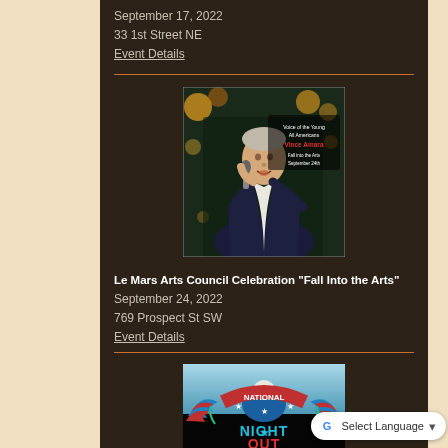September 17, 2022
33 1st Street NE
Event Details
[Figure (photo): A man in a dark suit singing into a microphone with bokeh lights in background and text overlay reading 'Vince Amara Fall Into the Arts September 24th']
Le Mars Arts Council Celebration "Fall Into the Arts"
September 24, 2022
769 Prospect St SW
Event Details
[Figure (logo): National Night Out logo featuring an eagle with wings spread, stars, and red/blue/white colors with text 'NATIONAL NIGHT OUT']
Select Language